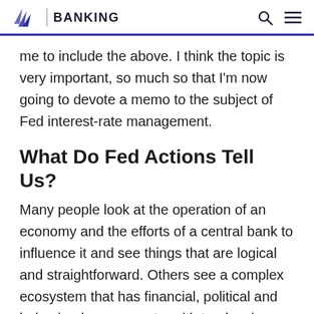BANKING
me to include the above. I think the topic is very important, so much so that I'm now going to devote a memo to the subject of Fed interest-rate management.
What Do Fed Actions Tell Us?
Many people look at the operation of an economy and the efforts of a central bank to influence it and see things that are logical and straightforward. Others see a complex ecosystem that has financial, political and behavioral components, with tendencies that are understandable but certainly